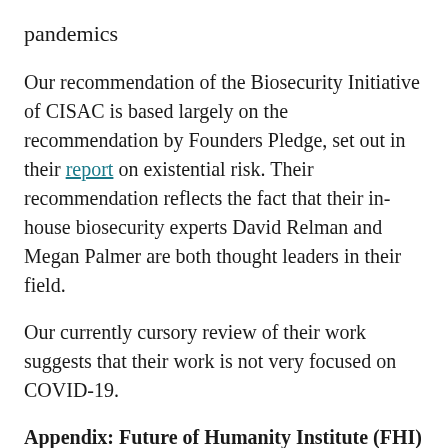pandemics
Our recommendation of the Biosecurity Initiative of CISAC is based largely on the recommendation by Founders Pledge, set out in their report on existential risk. Their recommendation reflects the fact that their in-house biosecurity experts David Relman and Megan Palmer are both thought leaders in their field.
Our currently cursory review of their work suggests that their work is not very focused on COVID-19.
Appendix: Future of Humanity Institute (FHI)
FHI is a multidisciplinary research institute at Oxford University studying big picture questions for human civilization.
FHI has been funded in the past by the Open